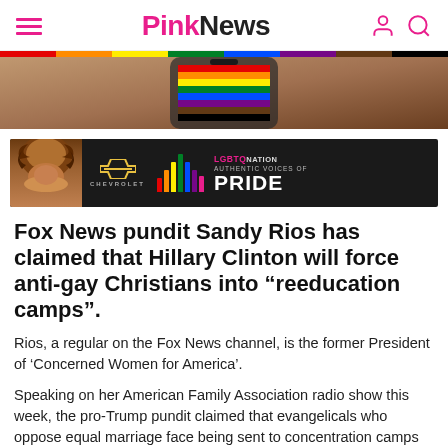PinkNews
[Figure (photo): Partial hero image showing a rainbow pride flag on a phone or device, with brown/orange gradient background]
[Figure (infographic): Advertisement banner: Chevrolet and LGBTQ Nation - Authentic Voices of Pride, featuring a person with curly hair on dark background with colorful bar chart graphic]
Fox News pundit Sandy Rios has claimed that Hillary Clinton will force anti-gay Christians into “reeducation camps”.
Rios, a regular on the Fox News channel, is the former President of ‘Concerned Women for America’.
Speaking on her American Family Association radio show this week, the pro-Trump pundit claimed that evangelicals who oppose equal marriage face being sent to concentration camps under Clinton.